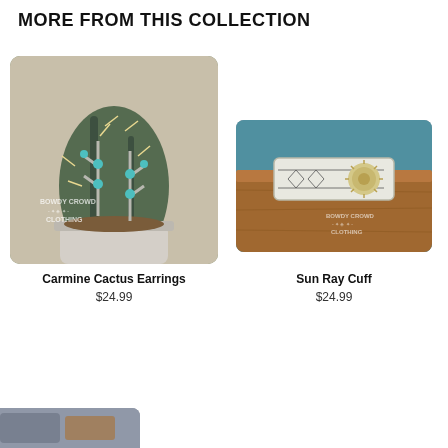More from this collection
[Figure (photo): Carmine Cactus Earrings - silver cactus-shaped dangle earrings with turquoise stones displayed on a real cactus plant in a white pot, with Bowdy Crowd Clothing watermark]
Carmine Cactus Earrings
$24.99
[Figure (photo): Sun Ray Cuff - silver wide cuff bracelet with Aztec/geometric engraving and sun medallion, resting on a wooden surface with teal background, Bowdy Crowd Clothing watermark]
Sun Ray Cuff
$24.99
[Figure (photo): Partial view of two product images at the bottom of the page, cut off]